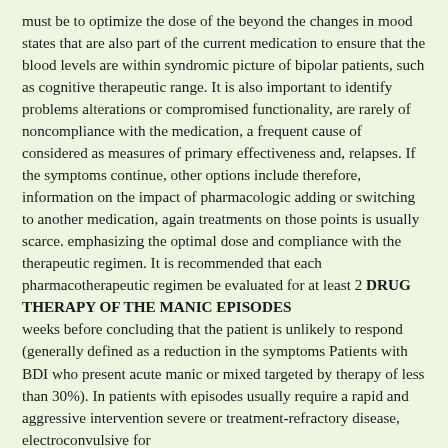must be to optimize the dose of the beyond the changes in mood states that are also part of the current medication to ensure that the blood levels are within syndromic picture of bipolar patients, such as cognitive therapeutic range. It is also important to identify problems alterations or compromised functionality, are rarely of noncompliance with the medication, a frequent cause of considered as measures of primary effectiveness and, relapses. If the symptoms continue, other options include therefore, information on the impact of pharmacologic adding or switching to another medication, again treatments on those points is usually scarce. emphasizing the optimal dose and compliance with the therapeutic regimen. It is recommended that each pharmacotherapeutic regimen be evaluated for at least 2
DRUG THERAPY OF THE MANIC EPISODES
weeks before concluding that the patient is unlikely to respond (generally defined as a reduction in the symptoms Patients with BDI who present acute manic or mixed targeted by therapy of less than 30%). In patients with episodes usually require a rapid and aggressive intervention severe or treatment-refractory disease, electroconvulsive for therapy before concluding that the patient is unlikely